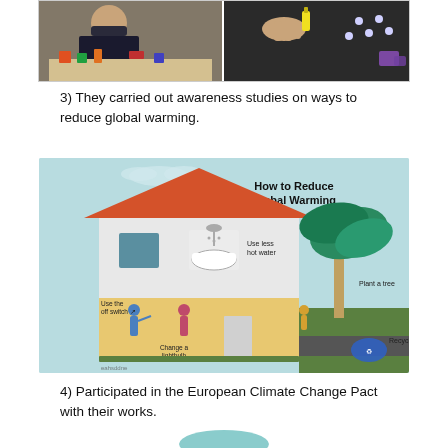[Figure (photo): Two photos side by side: left shows a child wearing a mask working on a craft project with colorful items on a table; right shows hands working on a dark surface with small objects.]
3) They carried out awareness studies on ways to reduce global warming.
[Figure (infographic): Infographic titled 'How to Reduce Global Warming' showing a cross-section of a house with labels: 'Use the off switch', 'Use less hot water', 'Change a lightbulb', 'Plant a tree', 'Recycle'. Background is light blue with illustrated house, tree, and person recycling.]
4) Participated in the European Climate Change Pact with their works.